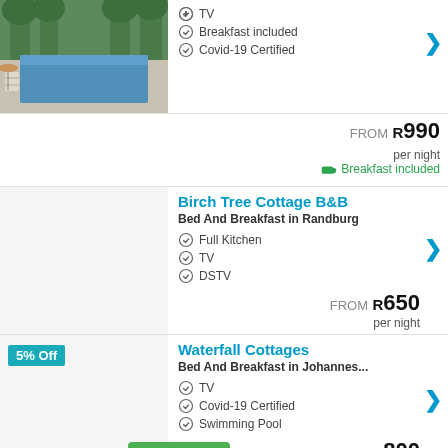[Figure (photo): Hotel pool area with lounge chairs and trees]
TV
Breakfast included
Covid-19 Certified
FROM R990 per night
Breakfast included
Birch Tree Cottage B&B
Bed And Breakfast in Randburg
Full Kitchen
TV
DSTV
FROM R650 per night
Waterfall Cottages
Bed And Breakfast in Johannes...
TV
Covid-19 Certified
Swimming Pool
FROM R800 per night
[Figure (screenshot): Map button overlay]
3 Liebeloft Guest House
Bed And Breakfast in Johan...